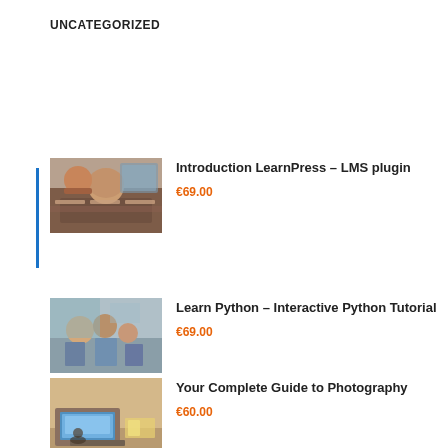UNCATEGORIZED
Introduction LearnPress – LMS plugin
€69.00
Learn Python – Interactive Python Tutorial
€69.00
Your Complete Guide to Photography
€60.00